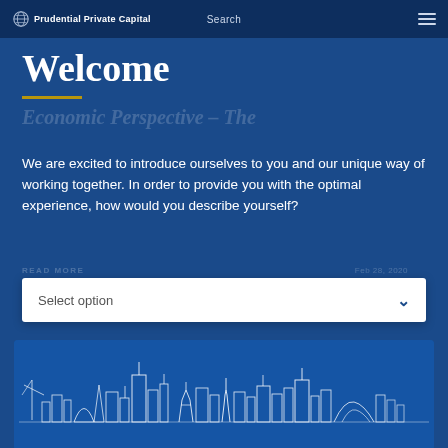Prudential Private Capital | Search
Welcome
We are excited to introduce ourselves to you and our unique way of working together. In order to provide you with the optimal experience, how would you describe yourself?
Select option
[Figure (illustration): Line drawing of a world city skyline silhouette in white on blue background, featuring recognizable landmarks from global cities]